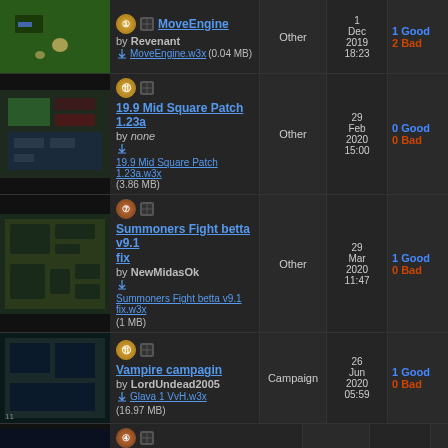MoveEngine | Other | 1 Dec 2019 18:23 | 1 Good 2 Bad | by Revenant | MoveEngine.w3x (0.04 MB)
19.9 Mid Square Patch 1.23a | Other | 29 Feb 2020 15:00 | 0 Good 0 Bad | by none | 19.9 Mid Square Patch 1.23a.w3x (3.86 MB)
Summoners Fight betta v9.1 fix | Other | 29 Mar 2020 11:47 | 1 Good 0 Bad | by NewMidasOk | Summoners Fight betta v9.1 fix.w3x (1 MB)
Vampire campagin | Campaign | 26 Jun 2020 05:59 | 1 Good 0 Bad | by LordUndead2005 | Glava 1 VvH.w3x (16.97 MB)
Tree Tag 2020 Edition v2.08 M01 | Other | 12 Jul 2020 21:20 | 0 Good 1 Bad | by ssbness | Tree_Tag_2020_Edition_v2.08_M01.w3x (2.36 MB)
Ice Crown [rc1] Remastered v3.1.59 | Melee | 31 Jul 2020 17:49 | 1 Good 0 Bad | by Cure Popuri